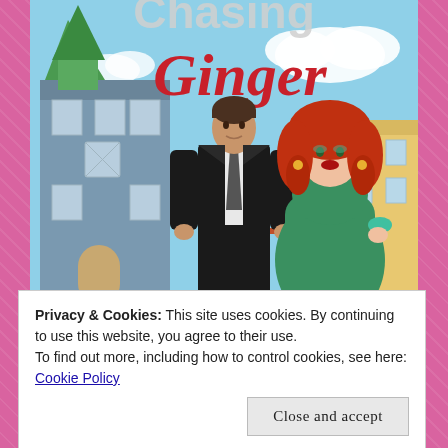[Figure (illustration): Book cover illustration for 'Chasing Ginger'. Shows an illustrated man in a black suit and a woman with red curly hair in a green dress, standing in front of San Francisco Victorian buildings with the Golden Gate Bridge in the background. Title text 'Chasing Ginger' appears at the top with 'Chasing' in white/grey and 'Ginger' in red cursive script.]
Privacy & Cookies: This site uses cookies. By continuing to use this website, you agree to their use.
To find out more, including how to control cookies, see here: Cookie Policy
Close and accept
tell if this is real or a fantasy?